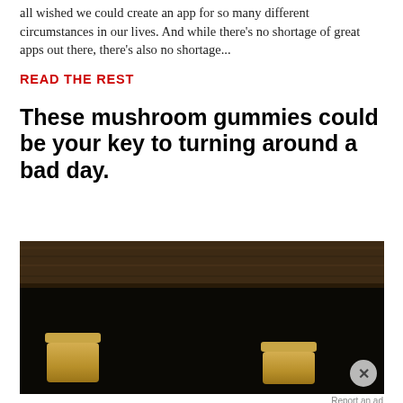all wished we could create an app for so many different circumstances in our lives. And while there's no shortage of great apps out there, there's also no shortage...
READ THE REST
These mushroom gummies could be your key to turning around a bad day.
[Figure (photo): Dark photograph showing what appears to be wooden shelf or surface with two small wooden/bamboo lidded jars on a dark background]
Report an ad
[Figure (screenshot): Advertisement for the Disney Bundle featuring Hulu, Disney+, and ESPN+ logos with text GET THE DISNEY BUNDLE and fine print about access details]